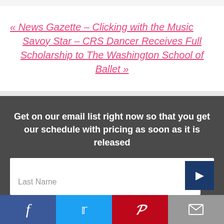« News Gazette – Clicking with the Music
Savoy Star – CRS Dancer Receives Full Scholarship to The Washington School of Ballet »
Get on our email list right now so that you get our schedule with pricing as soon as it is released
First Name
Last Name
[Figure (infographic): Social media sharing bar with Facebook, Twitter, Pinterest, and email buttons at the bottom of the page]